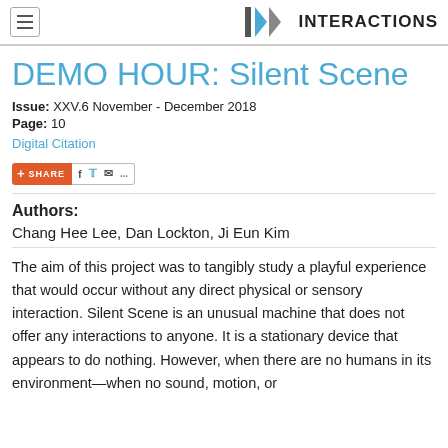IX INTERACTIONS
DEMO HOUR: Silent Scene
Issue: XXV.6 November - December 2018
Page: 10
Digital Citation
[Figure (other): Share button bar with social media icons (Facebook, Twitter, email)]
Authors:
Chang Hee Lee, Dan Lockton, Ji Eun Kim
The aim of this project was to tangibly study a playful experience that would occur without any direct physical or sensory interaction. Silent Scene is an unusual machine that does not offer any interactions to anyone. It is a stationary device that appears to do nothing. However, when there are no humans in its environment—when no sound, motion, or